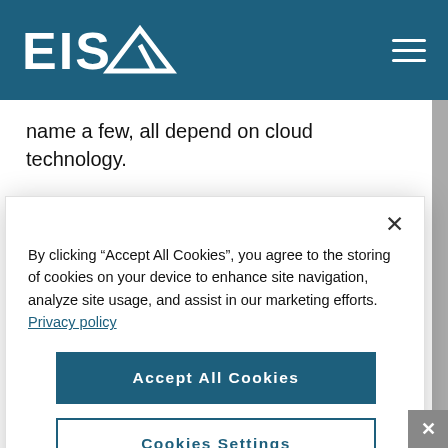EISA
name a few, all depend on cloud technology.
Looking forward, the very ubiquity of cloud, cloud tools and innovation is the foundation for the emerging B2B and
By clicking “Accept All Cookies”, you agree to the storing of cookies on your device to enhance site navigation, analyze site usage, and assist in our marketing efforts. Privacy policy
Accept All Cookies
Cookies Settings